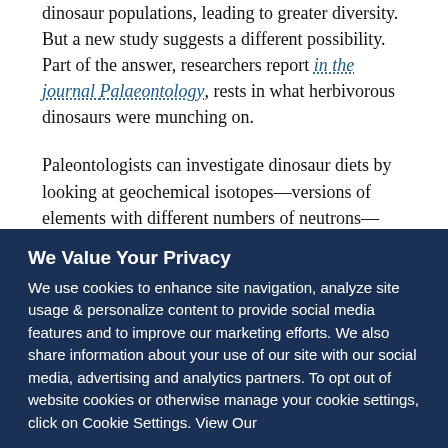dinosaur populations, leading to greater diversity. But a new study suggests a different possibility. Part of the answer, researchers report in the journal Palaeontology, rests in what herbivorous dinosaurs were munching on.
Paleontologists can investigate dinosaur diets by looking at geochemical isotopes—versions of elements with different numbers of neutrons—found in fossilized bones. As herbivorous dinosaurs digested ferns and conifers, for example, isotopes of oxygen, carbon and strontium from those plants accumulated in different proportions. Researchers have identified the distinct ratios associated with each plant type and
We Value Your Privacy
We use cookies to enhance site navigation, analyze site usage & personalize content to provide social media features and to improve our marketing efforts. We also share information about your use of our site with our social media, advertising and analytics partners. To opt out of website cookies or otherwise manage your cookie settings, click on Cookie Settings. View Our